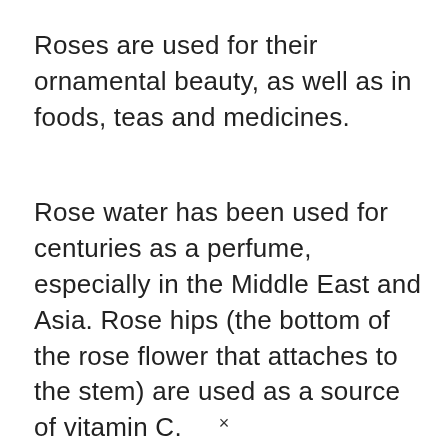Roses are used for their ornamental beauty, as well as in foods, teas and medicines.
Rose water has been used for centuries as a perfume, especially in the Middle East and Asia. Rose hips (the bottom of the rose flower that attaches to the stem) are used as a source of vitamin C.
×